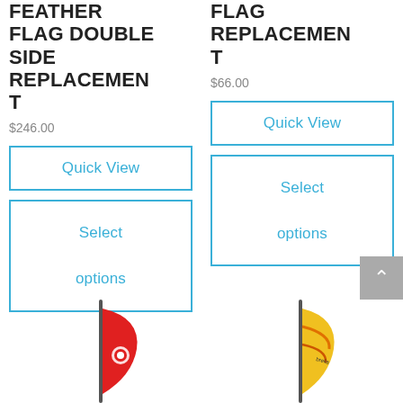FEATHER FLAG DOUBLE SIDE REPLACEMENT T
$246.00
Quick View
Select options
FLAG REPLACEMENT T
$66.00
Quick View
Select options
[Figure (photo): Red feather flag product image at bottom left]
[Figure (photo): Yellow/multicolor feather flag product image at bottom right]